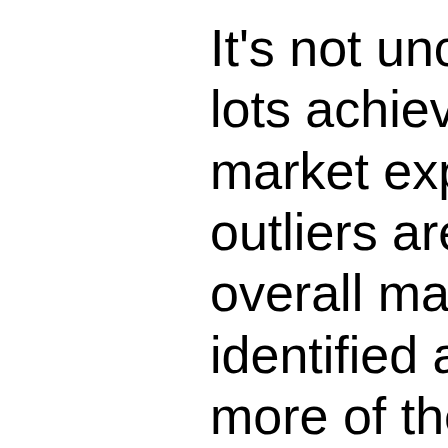It's not uncommon that lots achieve results above market expectations. These outliers are not representative of an overall market shift. Lots identified as selling above more of the buyer's-premium-adjusted high estimate